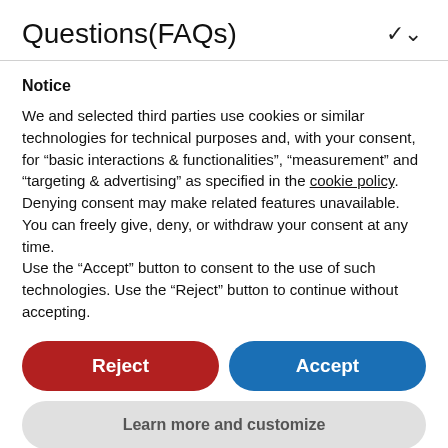Questions(FAQs)
Notice
We and selected third parties use cookies or similar technologies for technical purposes and, with your consent, for “basic interactions & functionalities”, “measurement” and “targeting & advertising” as specified in the cookie policy. Denying consent may make related features unavailable.
You can freely give, deny, or withdraw your consent at any time.
Use the “Accept” button to consent to the use of such technologies. Use the “Reject” button to continue without accepting.
Reject
Accept
Learn more and customize